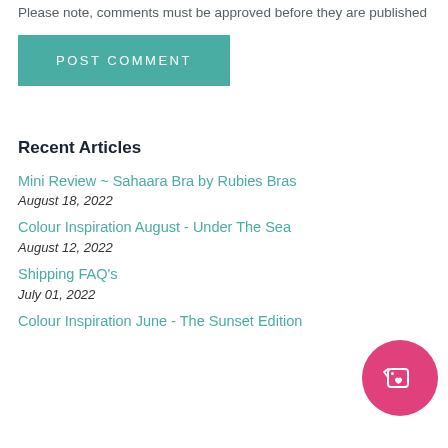Please note, comments must be approved before they are published
POST COMMENT
Recent Articles
Mini Review ~ Sahaara Bra by Rubies Bras
August 18, 2022
Colour Inspiration August - Under The Sea
August 12, 2022
Shipping FAQ's
July 01, 2022
Colour Inspiration June - The Sunset Edition
[Figure (illustration): Pink circle with a tag/label icon containing a heart]